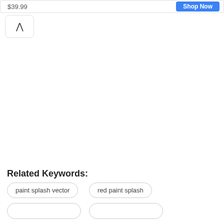$39.99
Shop Now
^
Related Keywords:
paint splash vector
red paint splash